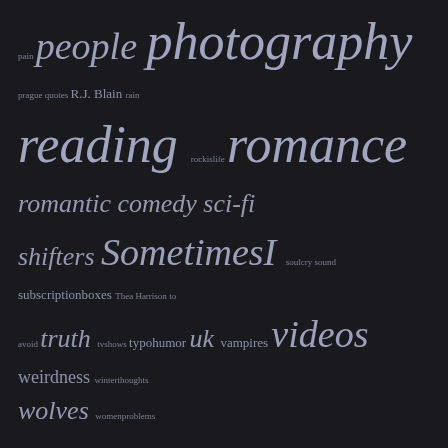pain people photography prague quotes R.J. Blain rain reading rockislife romance romantic comedy sci-fi shifters SometimesI soulcry sound subscriptionboxes Thea Harrison to avoid truth tvshows typohumor uk vampires videos weirdness winterthoughts wolves womenproblems wordsarehard work world writing ya
INSTAGRAM
[Figure (photo): Photo of modern glass skyscrapers against a cloudy sky at dusk/dawn, blue tones.]